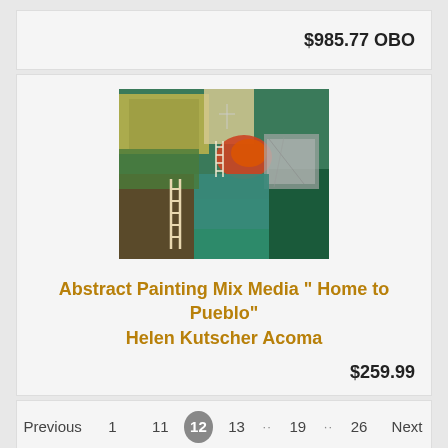$985.77 OBO
[Figure (illustration): Abstract mixed media painting titled 'Home to Pueblo' by Helen Kutscher Acoma, featuring green, teal, yellow, and orange abstract shapes with ladder motifs]
Abstract Painting Mix Media " Home to Pueblo" Helen Kutscher Acoma
$259.99
Previous  1  11  12  13  ..  19  ..  26  Next